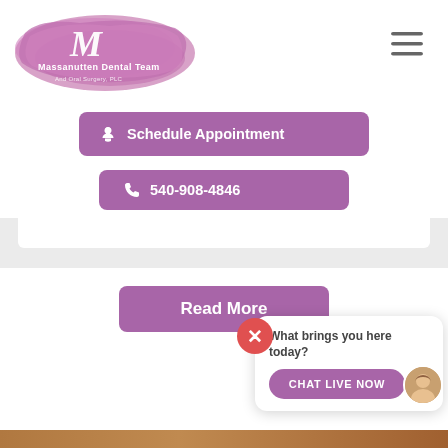[Figure (logo): Massanutten Dental Team logo - pink watercolor brush stroke with stylized M and text]
[Figure (other): Hamburger menu icon with three horizontal lines]
Schedule Appointment
540-908-4846
Read More
What brings you here today?
CHAT LIVE NOW
[Figure (photo): Partial photo of a person with brown curly hair at bottom of page]